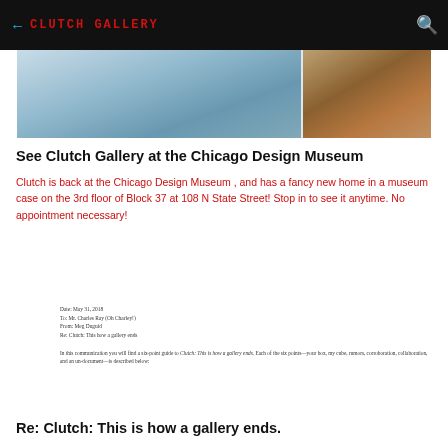← CLUTCH GALLERY
[Figure (photo): Photo of a museum interior showing glass display cases and a wooden or bronze sculptural element on the right side.]
See Clutch Gallery at the Chicago Design Museum
Clutch is back at the Chicago Design Museum , and has a fancy new home in a museum case on the 3rd floor of Block 37 at 108 N State Street! Stop in to see it anytime. No appointment necessary!
Date: May 31, 2018
To: Mr. Charles Ray (Oh Charley!)
From: Meg Duguid
Re: Clutch: This how a gallery ends
In this communication you will find a six-point guide to Clutch: This is how a gallery ends. Each of the six points—your box, my cube, rumors, corroboration, collaboration, and an un-document—is described below:
Re: Clutch: This is how a gallery ends.